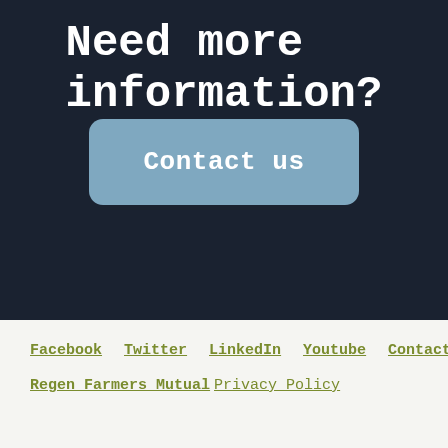Need more information?
Contact us
Facebook  Twitter  LinkedIn  Youtube  Contact us
Regen Farmers Mutual Privacy Policy